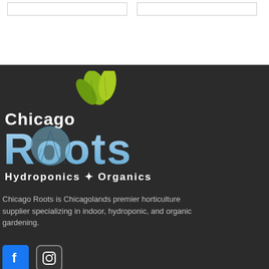[Figure (logo): Chicago Roots Hydroponics & Organics logo with green leaves and blue/grey lettering on dark background]
Chicago Roots is Chicagolands premier horticulture supplier specializing in indoor, hydroponic, and organic gardening.
[Figure (other): Facebook and Instagram social media icons]